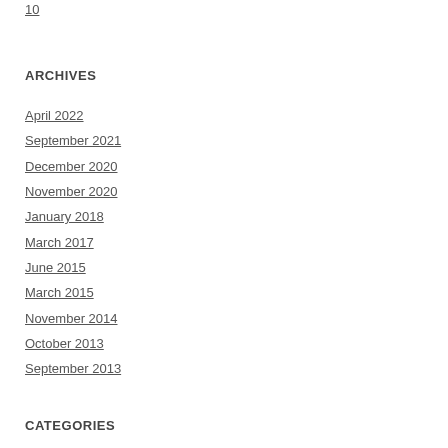10
ARCHIVES
April 2022
September 2021
December 2020
November 2020
January 2018
March 2017
June 2015
March 2015
November 2014
October 2013
September 2013
CATEGORIES